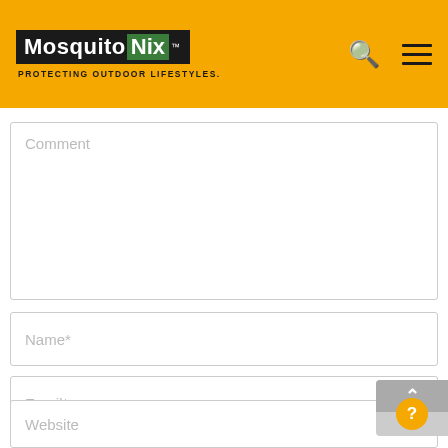[Figure (logo): MosquitoNix logo with tagline 'PROTECTING OUTDOOR LIFESTYLES.' on a yellow/amber header bar with search and menu icons]
Comment
Name*
Email*
Website